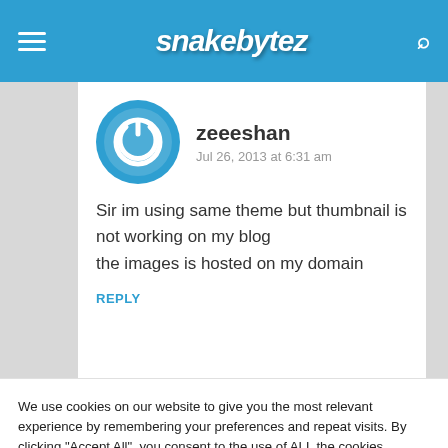snakebytez
zeeeshan
Jul 26, 2013 at 6:31 am
Sir im using same theme but thumbnail is not working on my blog
the images is hosted on my domain
REPLY
We use cookies on our website to give you the most relevant experience by remembering your preferences and repeat visits. By clicking "Accept All", you consent to the use of ALL the cookies. However, you may visit "Cookie Settings" to provide a controlled consent.